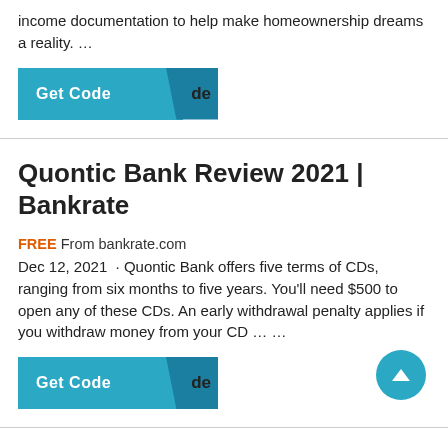income documentation to help make homeownership dreams a reality. …
[Figure (other): Get Code button with teal background and dark folded corner flap]
Quontic Bank Review 2021 | Bankrate
FREE From bankrate.com
Dec 12, 2021  · Quontic Bank offers five terms of CDs, ranging from six months to five years. You'll need $500 to open any of these CDs. An early withdrawal penalty applies if you withdraw money from your CD … …
[Figure (other): Get Code button with teal background and dark folded corner flap]
[Figure (other): Back to top circular button]